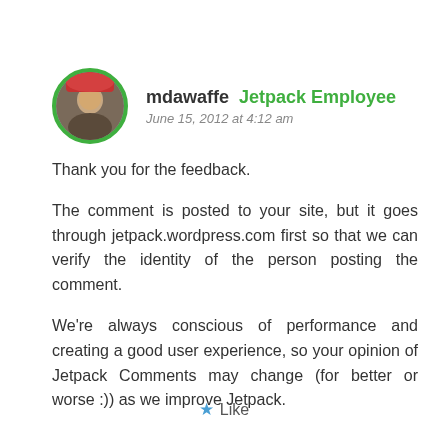[Figure (photo): Circular avatar photo of user mdawaffe with green border]
mdawaffe  Jetpack Employee
June 15, 2012 at 4:12 am
Thank you for the feedback.
The comment is posted to your site, but it goes through jetpack.wordpress.com first so that we can verify the identity of the person posting the comment.
We're always conscious of performance and creating a good user experience, so your opinion of Jetpack Comments may change (for better or worse :)) as we improve Jetpack.
★ Like